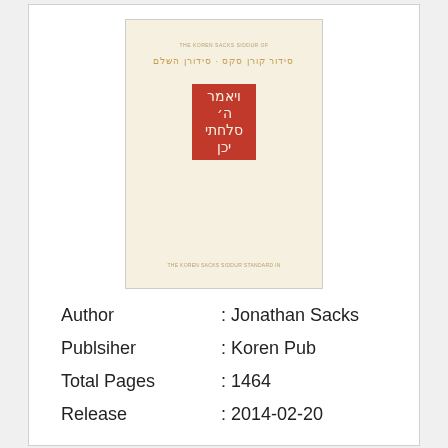[Figure (photo): Book cover image of a Hebrew prayer book (siddur) with a cream/off-white background. At the top, small gold text appears in English. Below that, Hebrew/transliterated title text in gold. A red rectangle in the center contains white Hebrew lettering. At the bottom, small gold English text.]
Author : Jonathan Sacks
Publsiher : Koren Pub
Total Pages : 1464
Release : 2014-02-20